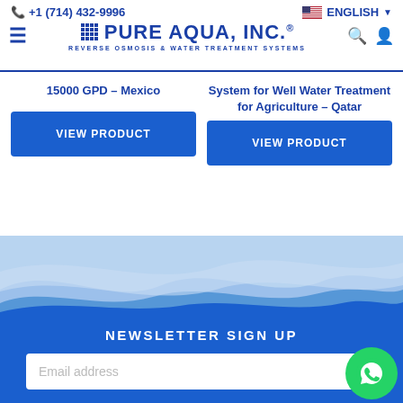+1 (714) 432-9996  PURE AQUA, INC. REVERSE OSMOSIS & WATER TREATMENT SYSTEMS  ENGLISH
15000 GPD – Mexico
System for Well Water Treatment for Agriculture – Qatar
VIEW PRODUCT
VIEW PRODUCT
[Figure (illustration): Blue wave/water background illustration with multiple wave layers in different shades of blue]
NEWSLETTER SIGN UP
Email address